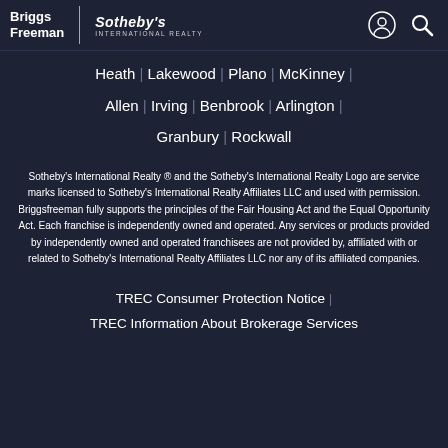Briggs Freeman | Sotheby's International Realty
Heath | Lakewood | Plano | McKinney | Allen | Irving | Benbrook | Arlington | Granbury | Rockwall
Sotheby's International Realty ® and the Sotheby's International Realty Logo are service marks licensed to Sotheby's International Realty Affiliates LLC and used with permission. Briggsfreeman fully supports the principles of the Fair Housing Act and the Equal Opportunity Act. Each franchise is independently owned and operated. Any services or products provided by independently owned and operated franchisees are not provided by, affiliated with or related to Sotheby's International Realty Affiliates LLC nor any of its affiliated companies.
TREC Consumer Protection Notice | TREC Information About Brokerage Services